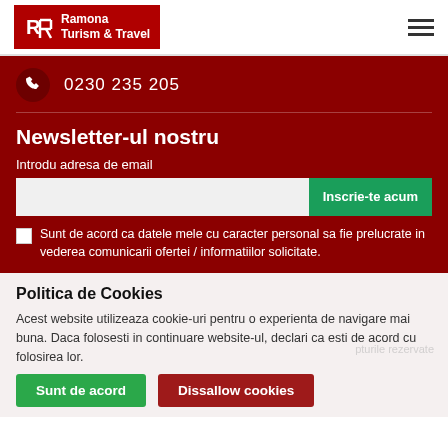[Figure (logo): Ramona Turism & Travel logo with red background and white stylized R T letters]
0230 235 205
Newsletter-ul nostru
Introdu adresa de email
Inscrie-te acum
Sunt de acord ca datele mele cu caracter personal sa fie prelucrate in vederea comunicarii ofertei / informatiilor solicitate.
Politica de Cookies
Acest website utilizeaza cookie-uri pentru o experienta de navigare mai buna. Daca folosesti in continuare website-ul, declari ca esti de acord cu folosirea lor.
Sunt de acord
Dissallow cookies